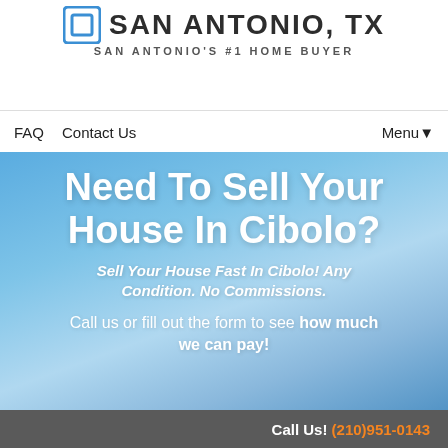[Figure (logo): San Antonio TX home buyer logo with blue house icon and text SAN ANTONIO, TX / SAN ANTONIO'S #1 HOME BUYER]
FAQ   Contact Us                                Menu▼
Need To Sell Your House In Cibolo?
Sell Your House Fast In Cibolo! Any Condition. No Commissions.
Call us or fill out the form to see how much we can pay!
Call Us! (210)951-0143